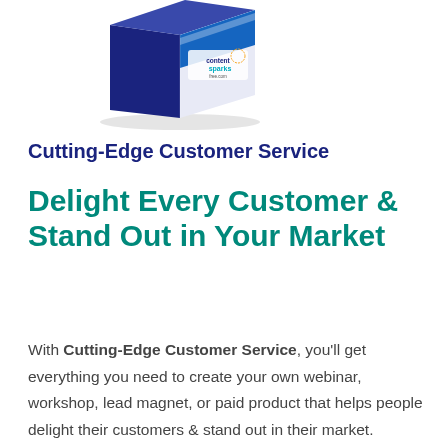[Figure (photo): Product box image for Cutting-Edge Customer Service from contentsparks.com, showing a blue and white software/course box with the contentSparks logo]
Cutting-Edge Customer Service
Delight Every Customer & Stand Out in Your Market
With Cutting-Edge Customer Service, you'll get everything you need to create your own webinar, workshop, lead magnet, or paid product that helps people delight their customers & stand out in their market.